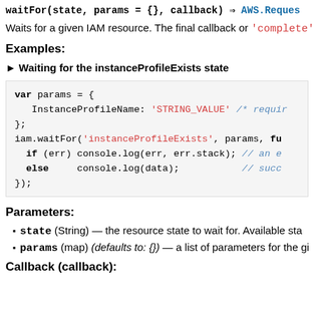waitFor(state, params = {}, callback) ⇒ AWS.Request
Waits for a given IAM resource. The final callback or 'complete'
Examples:
► Waiting for the instanceProfileExists state
var params = {
  InstanceProfileName: 'STRING_VALUE' /* require
};
iam.waitFor('instanceProfileExists', params, fu
  if (err) console.log(err, err.stack); // an e
  else     console.log(data);           // succ
});
Parameters:
state (String) — the resource state to wait for. Available sta
params (map) (defaults to: {}) — a list of parameters for the gi
Callback (callback):